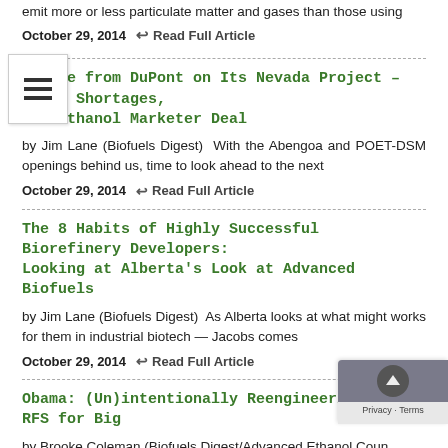emit more or less particulate matter and gases than those using
October 29, 2014   Read Full Article
Update from DuPont on Its Nevada Project – Labor Shortages, New Ethanol Marketer Deal
by Jim Lane (Biofuels Digest)  With the Abengoa and POET-DSM openings behind us, time to look ahead to the next
October 29, 2014   Read Full Article
The 8 Habits of Highly Successful Biorefinery Developers: Looking at Alberta's Look at Advanced Biofuels
by Jim Lane (Biofuels Digest)  As Alberta looks at what might works for them in industrial biotech — Jacobs comes
October 29, 2014   Read Full Article
Obama: (Un)intentionally Reengineering the RFS for Big
by Brooke Coleman (Biofuels Digest/Advanced Ethanol Coun… doubtful that anyone on the Obama energy team regards themselves